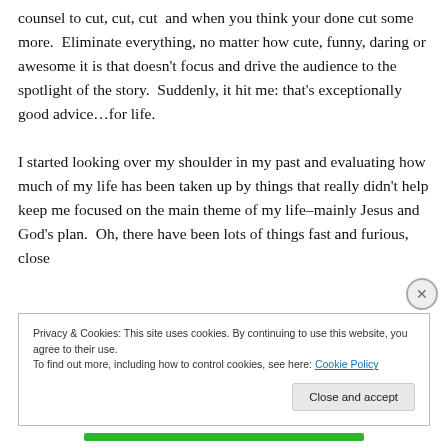counsel to cut, cut, cut  and when you think your done cut some more.  Eliminate everything, no matter how cute, funny, daring or awesome it is that doesn't focus and drive the audience to the spotlight of the story.  Suddenly, it hit me: that's exceptionally good advice…for life.

I started looking over my shoulder in my past and evaluating how much of my life has been taken up by things that really didn't help keep me focused on the main theme of my life–mainly Jesus and God's plan.  Oh, there have been lots of things fast and furious, close
Privacy & Cookies: This site uses cookies. By continuing to use this website, you agree to their use.
To find out more, including how to control cookies, see here: Cookie Policy